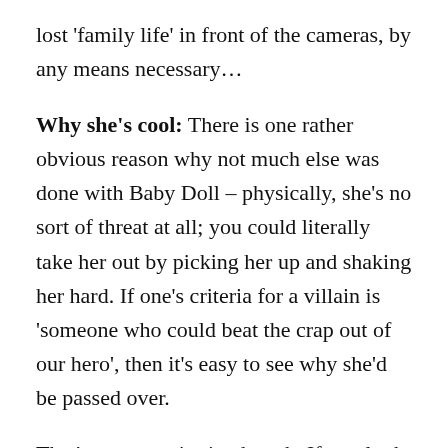lost 'family life' in front of the cameras, by any means necessary…
Why she's cool: There is one rather obvious reason why not much else was done with Baby Doll – physically, she's no sort of threat at all; you could literally take her out by picking her up and shaking her hard. If one's criteria for a villain is 'someone who could beat the crap out of our hero', then it's easy to see why she'd be passed over.
That's not my criteria, though. If you look back at Batman's classic rogues gallery, most of them have at one point or another been presented as